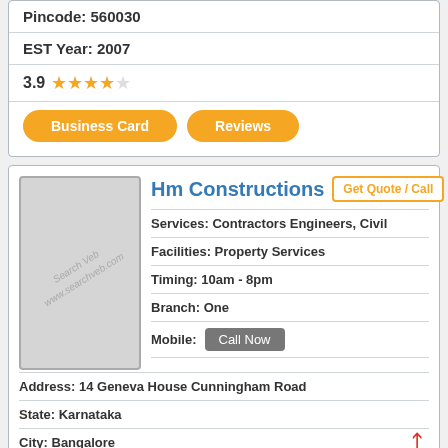Pincode: 560030
EST Year: 2007
3.9 ★★★★☆
Business Card | Reviews
Hm Constructions
Get Quote / Call
Services: Contractors Engineers, Civil
Facilities: Property Services
Timing: 10am - 8pm
Branch: One
Mobile: Call Now
Address: 14 Geneva House Cunningham Road
State: Karnataka
City: Bangalore
Location: Cunningham Road